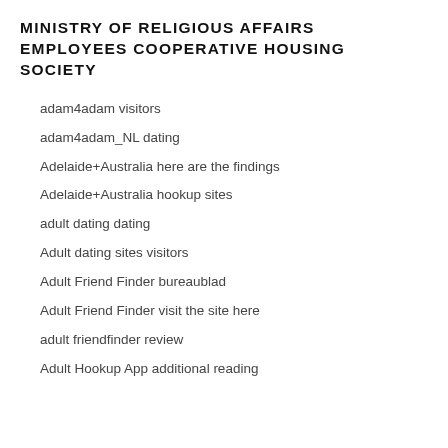MINISTRY OF RELIGIOUS AFFAIRS EMPLOYEES COOPERATIVE HOUSING SOCIETY
adam4adam visitors
adam4adam_NL dating
Adelaide+Australia here are the findings
Adelaide+Australia hookup sites
adult dating dating
Adult dating sites visitors
Adult Friend Finder bureaublad
Adult Friend Finder visit the site here
adult friendfinder review
Adult Hookup App additional reading